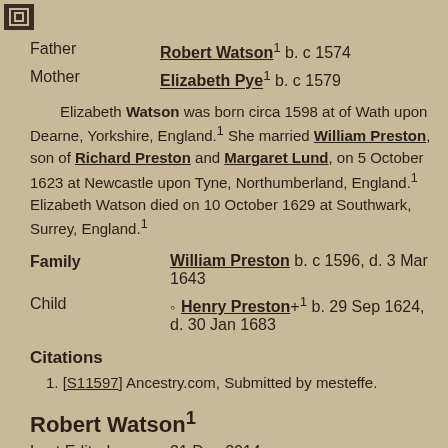Father   Robert Watson¹ b. c 1574
Mother   Elizabeth Pye¹ b. c 1579
Elizabeth Watson was born circa 1598 at of Wath upon Dearne, Yorkshire, England.¹ She married William Preston, son of Richard Preston and Margaret Lund, on 5 October 1623 at Newcastle upon Tyne, Northumberland, England.¹ Elizabeth Watson died on 10 October 1629 at Southwark, Surrey, England.¹
Family   William Preston b. c 1596, d. 3 Mar 1643
Child   Henry Preston+¹ b. 29 Sep 1624, d. 30 Jan 1683
Citations
1. [S11597] Ancestry.com, Submitted by mesteffe.
Robert Watson¹
Last Edited   31 Dec 2014